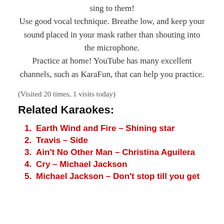sing to them!
Use good vocal technique. Breathe low, and keep your sound placed in your mask rather than shouting into the microphone.
Practice at home! YouTube has many excellent channels, such as KaraFun, that can help you practice.
(Visited 20 times, 1 visits today)
Related Karaokes:
Earth Wind and Fire – Shining star
Travis – Side
Ain't No Other Man – Christina Aguilera
Cry – Michael Jackson
Michael Jackson – Don't stop till you get